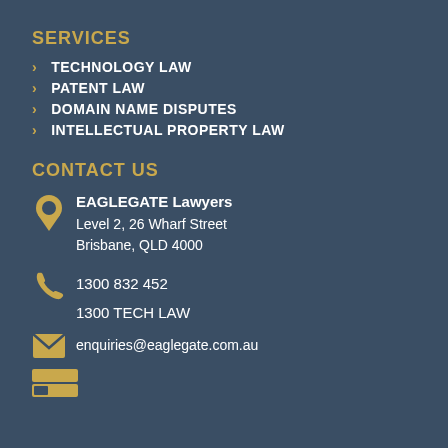SERVICES
TECHNOLOGY LAW
PATENT LAW
DOMAIN NAME DISPUTES
INTELLECTUAL PROPERTY LAW
CONTACT US
EAGLEGATE Lawyers
Level 2, 26 Wharf Street
Brisbane, QLD 4000
1300 832 452
1300 TECH LAW
enquiries@eaglegate.com.au